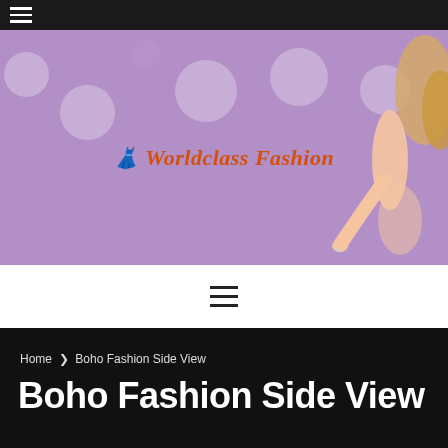≡ (hamburger menu)
[Figure (illustration): Purple banner with decorative glowing circles and a fashion illustration of a woman with blonde hair on the right side. Center shows the Worldclass Fashion logo with a dress icon.]
🎽 Worldclass Fashion
≡ (hamburger menu navigation)
Home ❯ Boho Fashion Side View
Boho Fashion Side View